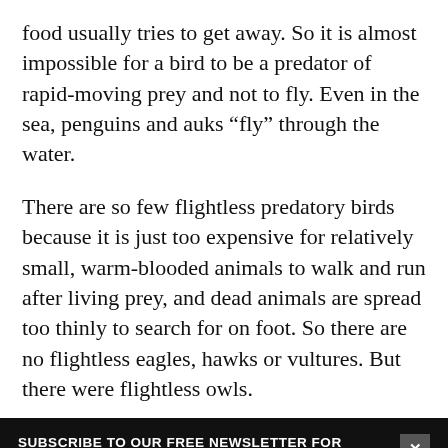food usually tries to get away. So it is almost impossible for a bird to be a predator of rapid-moving prey and not to fly. Even in the sea, penguins and auks “fly” through the water.
There are so few flightless predatory birds because it is just too expensive for relatively small, warm-blooded animals to walk and run after living prey, and dead animals are spread too thinly to search for on foot. So there are no flightless eagles, hawks or vultures. But there were flightless owls.
SUBSCRIBE TO OUR FREE NEWSLETTER FOR NEWS AND PRIZES
Email
SUBMIT
3 FREE ARTICLES LEFT
Subscribe for $1 | Sign in